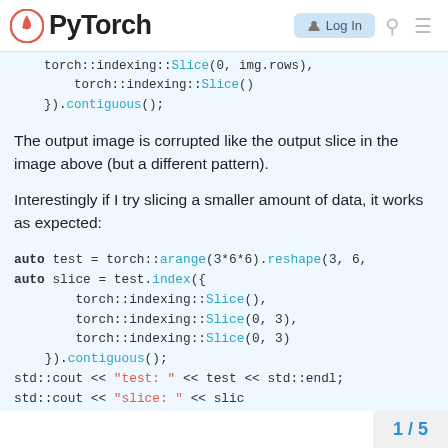PyTorch — Log In
torch::indexing::Slice(0, img.rows),
    torch::indexing::Slice()
}).contiguous();
The output image is corrupted like the output slice in the image above (but a different pattern).
Interestingly if I try slicing a smaller amount of data, it works as expected:
auto test = torch::arange(3*6*6).reshape(3, 6,
auto slice = test.index({
     torch::indexing::Slice(),
     torch::indexing::Slice(0, 3),
     torch::indexing::Slice(0, 3)
}).contiguous();
std::cout << "test: " << test << std::endl;
std::cout << "slice: " << slice
1 / 5